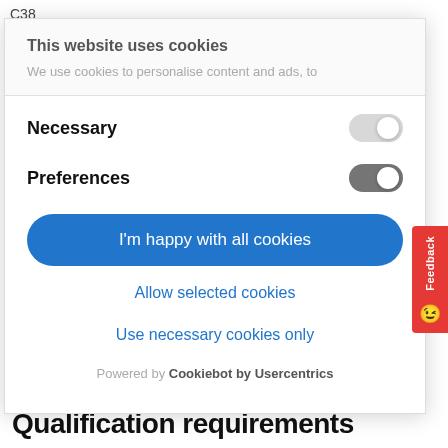C38
This website uses cookies
We use cookies to personalise content and ads, to
Necessary
Preferences
I'm happy with all cookies
Allow selected cookies
Use necessary cookies only
Powered by Cookiebot by Usercentrics
Qualification requirements